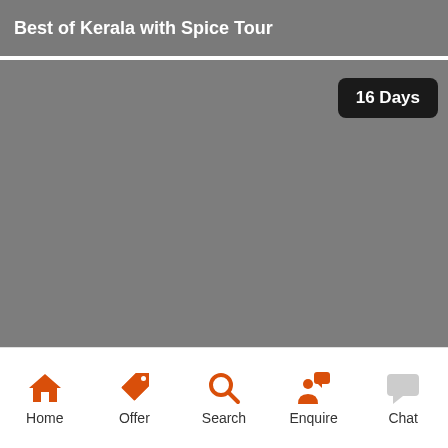Best of Kerala with Spice Tour
[Figure (photo): Large image area showing Kerala landscape, currently gray placeholder]
16 Days
Home | Offer | Search | Enquire | Chat